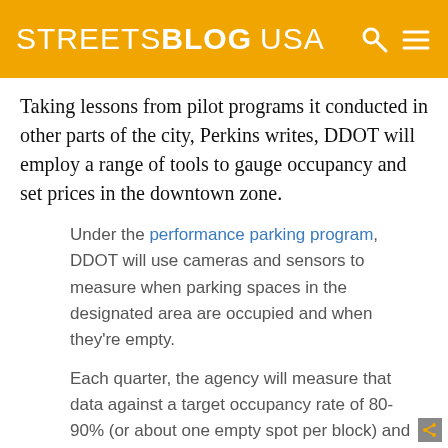STREETSBLOG USA
Taking lessons from pilot programs it conducted in other parts of the city, Perkins writes, DDOT will employ a range of tools to gauge occupancy and set prices in the downtown zone.
Under the performance parking program, DDOT will use cameras and sensors to measure when parking spaces in the designated area are occupied and when they're empty.
Each quarter, the agency will measure that data against a target occupancy rate of 80-90% (or about one empty spot per block) and adjust how much it costs to park in a given spot accordingly. It's possible that prices will change more